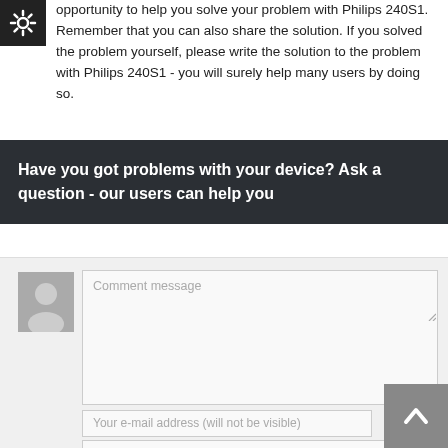opportunity to help you solve your problem with Philips 240S1. Remember that you can also share the solution. If you solved the problem yourself, please write the solution to the problem with Philips 240S1 - you will surely help many users by doing so.
[Figure (other): Settings gear icon black square top left]
Have you got problems with your device? Ask a question - our users can help you
[Figure (other): User avatar placeholder silhouette image]
[Figure (screenshot): Comment message textarea input field]
[Figure (screenshot): Your e-mail address (will not be visible) input field]
[Figure (other): Back to top arrow button bottom right]